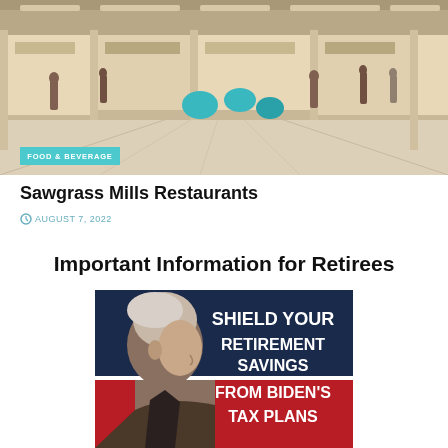[Figure (photo): Shopping mall food court interior with people walking, teal seating pods, store fronts visible in background. 'FOOD & BEVERAGE' label overlay at bottom left.]
Sawgrass Mills Restaurants
AUGUST 7, 2022
Important Information for Retirees
[Figure (photo): Political advertisement image featuring a side-profile photo of a grey-haired elderly man against a dark blue and red background. Text reads: 'SHIELD YOUR RETIREMENT SAVINGS FROM BIDEN'S TAX PLANS']